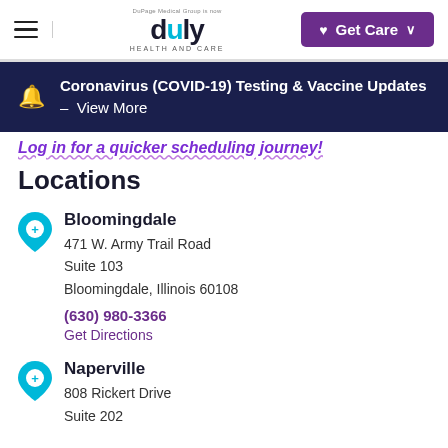duly HEALTH AND CARE — DuPage Medical Group is now duly | Get Care
Coronavirus (COVID-19) Testing & Vaccine Updates – View More
Log in for a quicker scheduling journey!
Locations
Bloomingdale
471 W. Army Trail Road
Suite 103
Bloomingdale, Illinois 60108
(630) 980-3366
Get Directions
Naperville
808 Rickert Drive
Suite 202